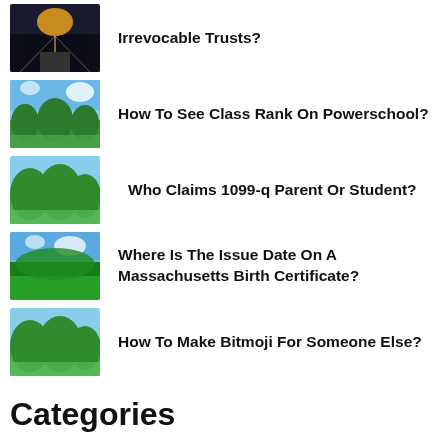Irrevocable Trusts?
How To See Class Rank On Powerschool?
Who Claims 1099-q Parent Or Student?
Where Is The Issue Date On A Massachusetts Birth Certificate?
How To Make Bitmoji For Someone Else?
Categories
Education
Uncategorized